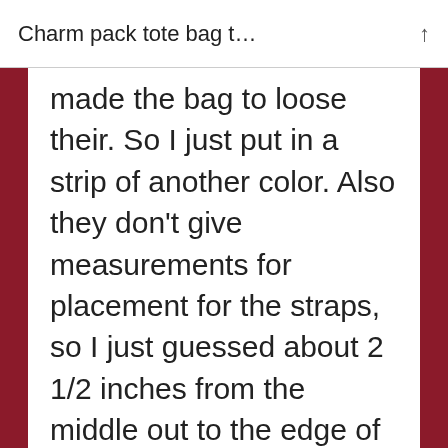Charm pack tote bag t…
made the bag to loose their. So I just put in a strip of another color. Also they don't give measurements for placement for the straps, so I just guessed about 2 1/2 inches from the middle out to the edge of the strap.Then quilted the whole thing. Turned out really nice. I'm giving it away to a friend